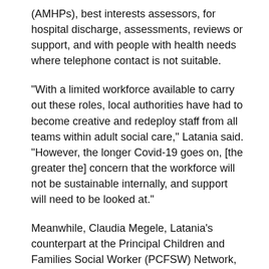(AMHPs), best interests assessors, for hospital discharge, assessments, reviews or support, and with people with health needs where telephone contact is not suitable.
“With a limited workforce available to carry out these roles, local authorities have had to become creative and redeploy staff from all teams within adult social care,” Latania said. “However, the longer Covid-19 goes on, [the greater the] concern that the workforce will not be sustainable internally, and support will need to be looked at.”
Meanwhile, Claudia Megele, Latania’s counterpart at the Principal Children and Families Social Worker (PCFSW) Network, said there were “great variations” among local authorities’ staffing capacities and that it was still too early to assess the impact of coronavirus on employees.
“One thing is certain [though] – with the socioeconomic impact of Covid-19, there will be a significant increase in demand for services and support, which is already evident